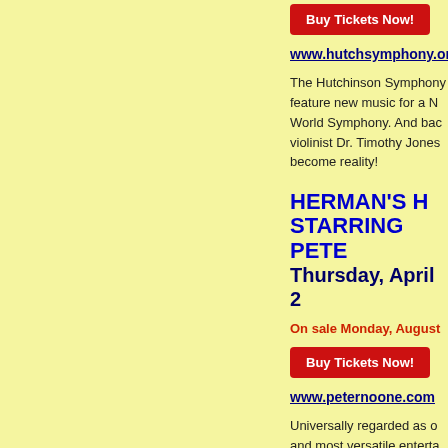[Figure (other): Red 'Buy Tickets Now!' button]
www.hutchsymphony.or
The Hutchinson Symphon... feature new music for a N... World Symphony. And bac... violinist Dr. Timothy Jones... become reality!
HERMAN'S H... STARRING PETER... Thursday, April 2...
On sale Monday, August...
[Figure (other): Red 'Buy Tickets Now!' button]
www.peternoone.com
Universally regarded as o... and most versatile enterta... international fame as "Her... include: "I'm Into Somethi...